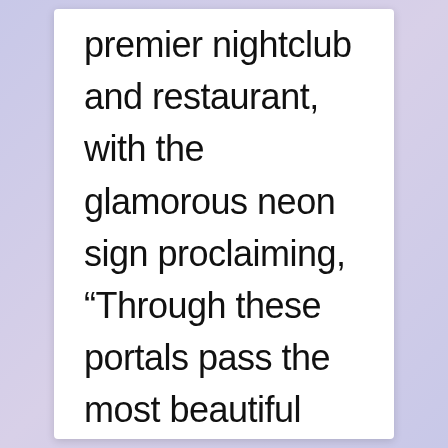premier nightclub and restaurant, with the glamorous neon sign proclaiming, “Through these portals pass the most beautiful girls in the world”